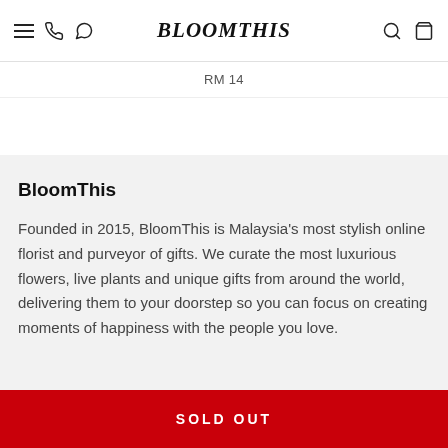BloomThis — navigation bar with hamburger menu, phone, WhatsApp icons, logo, search, and bag icons
RM 14
BloomThis
Founded in 2015, BloomThis is Malaysia's most stylish online florist and purveyor of gifts. We curate the most luxurious flowers, live plants and unique gifts from around the world, delivering them to your doorstep so you can focus on creating moments of happiness with the people you love.
SOLD OUT